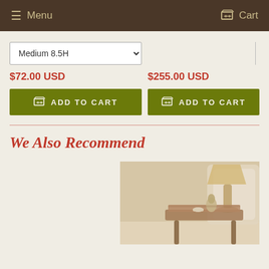Menu  Cart
Medium 8.5H
$72.00 USD
$255.00 USD
ADD TO CART
ADD TO CART
We Also Recommend
[Figure (photo): A furniture vignette showing a decorative side table with books, a lamp, a small bust figurine, a teacup, and a white wingback chair in a warm interior setting.]